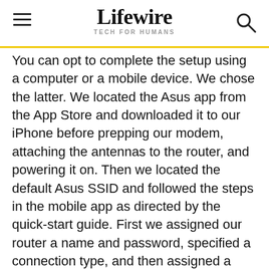Lifewire TECH FOR HUMANS
You can opt to complete the setup using a computer or a mobile device. We chose the latter. We located the Asus app from the App Store and downloaded it to our iPhone before prepping our modem, attaching the antennas to the router, and powering it on. Then we located the default Asus SSID and followed the steps in the mobile app as directed by the quick-start guide. First we assigned our router a name and password, specified a connection type, and then assigned a network name and password to our 2.4 GHz and 5 GHz connections.